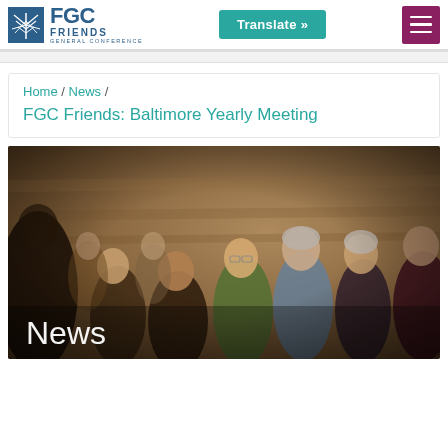FGC Friends General Conference | Translate » | Navigation menu
Home / News / FGC Friends: Baltimore Yearly Meeting
[Figure (photo): A group of people seated in rows, listening attentively in what appears to be a meeting or lecture hall. Warm, slightly dim lighting. Older and middle-aged adults of various appearances. A white text overlay reads 'News' in the lower left corner.]